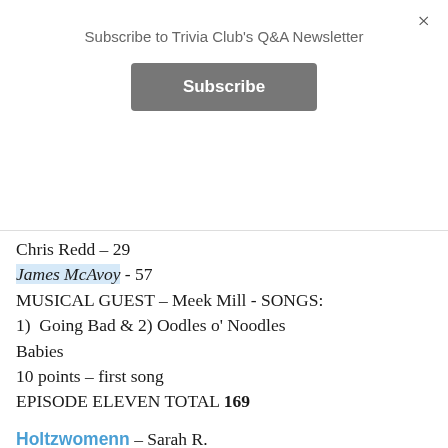Subscribe to Trivia Club's Q&A Newsletter
Subscribe
Chris Redd – 29
James McAvoy - 57
MUSICAL GUEST – Meek Mill - SONGS: 1) Going Bad & 2) Oodles o' Noodles Babies
10 points – first song
EPISODE ELEVEN TOTAL 169
Holtzwomenn – Sarah R.
Beck Bennett – 44
Kyle Mooney – 40
Mikey Day – 17
MUSICAL GUEST – Meek Mill - SONGS: